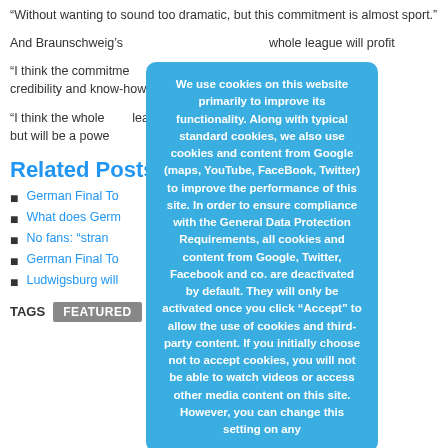“Without wanting to sound too dramatic, but this commitment is almost sport.”
And Braunschweig’s whole league will profit
“I think the commitment sport. With FC Bayern credibility and know-how Braun.
“I think the whole league know how. And sports-wis but will be a power
Related Posts
German Final Tour need to know Part 1
What does Germ during the pandemic…
No fans: “strang t out”
German Final Tour need to know Part 2
Ludwigsburg will 2 vs Bayern
TAGS   FEATURED
We use cookies on this website primarily to improve its functionality. Along with typical standard cookies, we also use cookies and content from Google (maps, YouTube, FaceBook, Twitter) to improve the performance of this site. In order to ensure compliance with the General Data Protection Requirements, all cookies and content from Google, Twitter, Facebook and co. are deactivated by default. They will only be activated once you click “Accept” to allow the use of cookies and third-party content. If you initially choose not to accept cookies, you will not be able to watch videos or access other media content on this site. However, you can change this setting on any